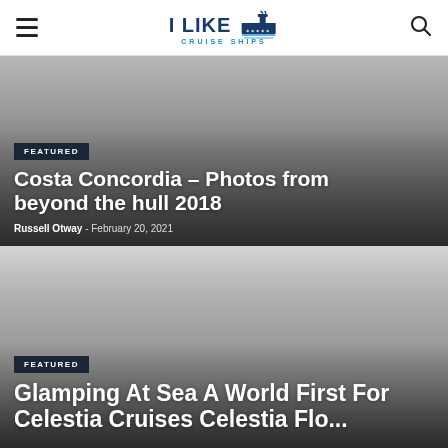I LIKE CRUISE SHIPS
[Figure (photo): Featured article card with gray gradient background for Costa Concordia article]
Costa Concordia – Photos from beyond the hull 2018
Russell Otway - February 20, 2021
[Figure (photo): Featured article card with gray gradient background for Glamping At Sea article]
Glamping At Sea A World First For ...